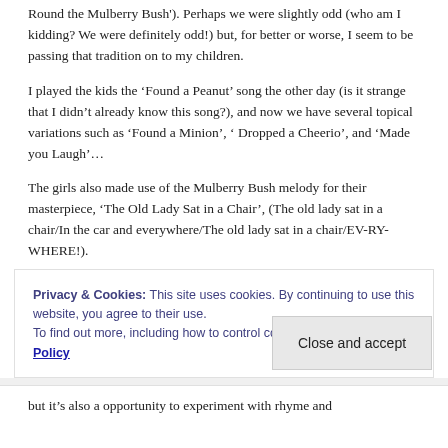Round the Mulberry Bush'). Perhaps we were slightly odd (who am I kidding? We were definitely odd!) but, for better or worse, I seem to be passing that tradition on to my children.
I played the kids the ‘Found a Peanut’ song the other day (is it strange that I didn’t already know this song?), and now we have several topical variations such as ‘Found a Minion’, ‘ Dropped a Cheerio’, and ‘Made you Laugh’…
The girls also made use of the Mulberry Bush melody for their masterpiece, ‘The Old Lady Sat in a Chair’, (The old lady sat in a chair/In the car and everywhere/The old lady sat in a chair/EV-RY-WHERE!).
Privacy & Cookies: This site uses cookies. By continuing to use this website, you agree to their use.
To find out more, including how to control cookies, see here: Cookie Policy
Close and accept
but it’s also a opportunity to experiment with rhyme and